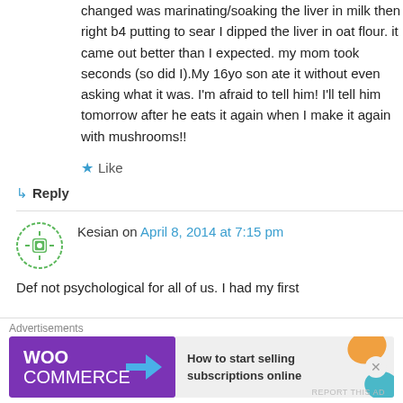changed was marinating/soaking the liver in milk then right b4 putting to sear I dipped the liver in oat flour. it came out better than I expected. my mom took seconds (so did I).My 16yo son ate it without even asking what it was. I'm afraid to tell him! I'll tell him tomorrow after he eats it again when I make it again with mushrooms!!
★ Like
↳ Reply
Kesian on April 8, 2014 at 7:15 pm
Def not psychological for all of us. I had my first
Advertisements
[Figure (infographic): WooCommerce advertisement banner: purple background with WooCommerce logo, blue arrow, and text 'How to start selling subscriptions online' on light background with orange/teal decorative shapes]